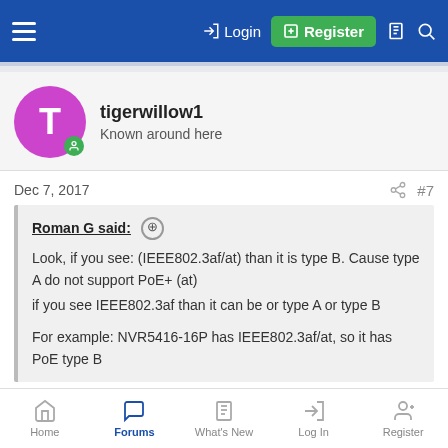Login | Register
tigerwillow1 — Known around here
Dec 7, 2017  #7
Roman G said: ⊕

Look, if you see: (IEEE802.3af/at) than it is type B. Cause type A do not support PoE+ (at)
if you see IEEE802.3af than it can be or type A or type B

For example: NVR5416-16P has IEEE802.3af/at, so it has PoE type B
I disagree with this. 802.3at specs maximum 30 watts over 2
Home | Forums | What's New | Log In | Register